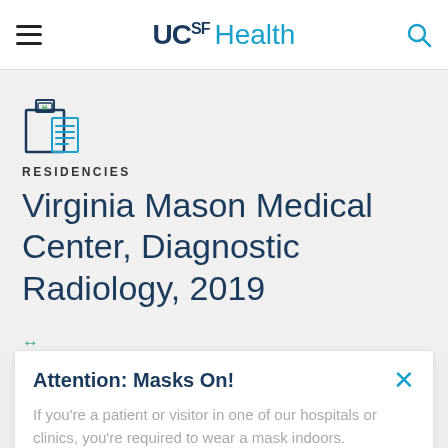UCSF Health
[Figure (illustration): Hospital building icon with H symbol and document lines]
RESIDENCIES
Virginia Mason Medical Center, Diagnostic Radiology, 2019
Attention: Masks On!
If you're a patient or visitor in one of our hospitals or clinics, you're required to wear a mask indoors.